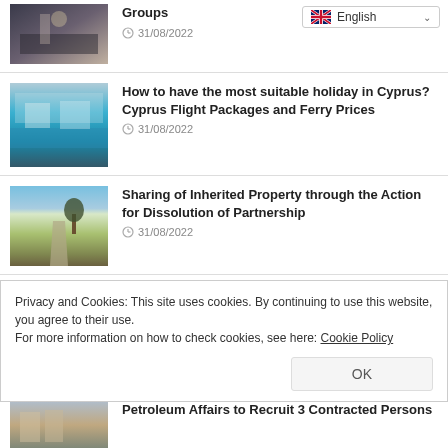[Figure (photo): Interior room photo with chandelier]
Groups
31/08/2022
[Figure (photo): Aerial view of resort with swimming pool]
How to have the most suitable holiday in Cyprus? Cyprus Flight Packages and Ferry Prices
31/08/2022
[Figure (photo): Country road through green field with tree]
Sharing of Inherited Property through the Action for Dissolution of Partnership
31/08/2022
Privacy and Cookies: This site uses cookies. By continuing to use this website, you agree to their use.
For more information on how to check cookies, see here: Cookie Policy
[Figure (photo): Partial view of a building photo at bottom]
Petroleum Affairs to Recruit 3 Contracted Persons